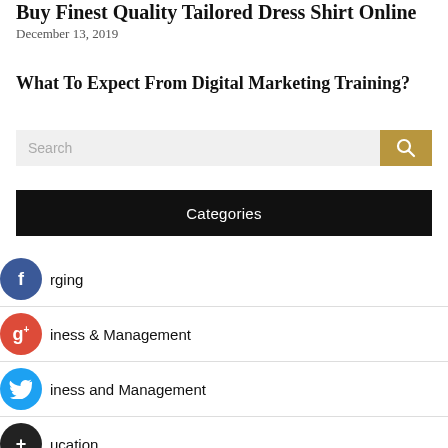Buy Finest Quality Tailored Dress Shirt Online
December 13, 2019
What To Expect From Digital Marketing Training?
[Figure (other): Search bar with gold/tan search button containing a magnifying glass icon]
Categories
Blogging
Business & Management
Business and Management
Education
Health and Fitness
Home and Garden